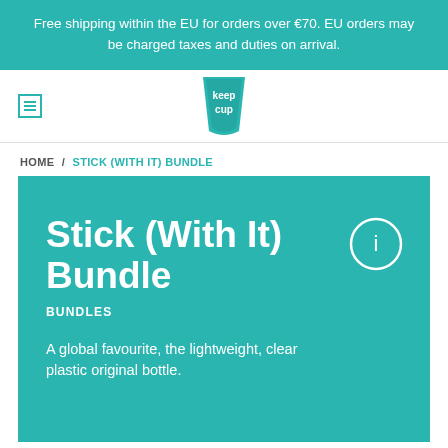Free shipping within the EU for orders over €70. EU orders may be charged taxes and duties on arrival.
[Figure (logo): KeepCup logo — teal cup shape with 'keep cup' text inside, centered in navigation bar]
HOME / STICK (WITH IT) BUNDLE
Stick (With It) Bundle
BUNDLES
A global favourite, the lightweight, clear plastic original bottle.